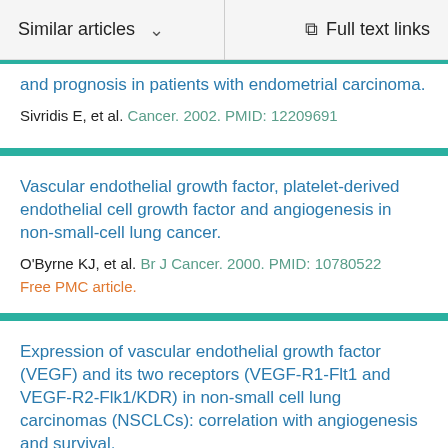Similar articles   Full text links
and prognosis in patients with endometrial carcinoma.
Sivridis E, et al. Cancer. 2002. PMID: 12209691
Vascular endothelial growth factor, platelet-derived endothelial cell growth factor and angiogenesis in non-small-cell lung cancer.
O'Byrne KJ, et al. Br J Cancer. 2000. PMID: 10780522
Free PMC article.
Expression of vascular endothelial growth factor (VEGF) and its two receptors (VEGF-R1-Flt1 and VEGF-R2-Flk1/KDR) in non-small cell lung carcinomas (NSCLCs): correlation with angiogenesis and survival.